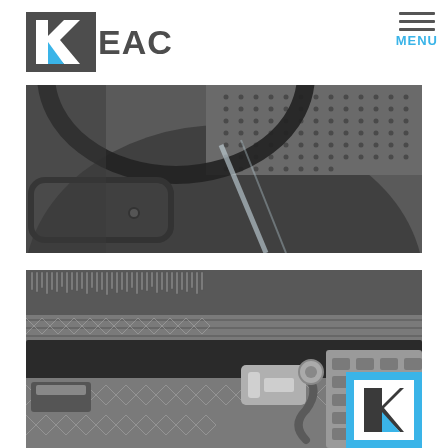EAC | MENU
[Figure (photo): Close-up interior view of industrial machinery showing perforated metal panels, curved structural components, and metallic surfaces with light streaks]
[Figure (photo): Close-up view of industrial machine interior with densely packed pins or needles, mesh screens, mechanical components, a sensor/connector, and textured metal surfaces]